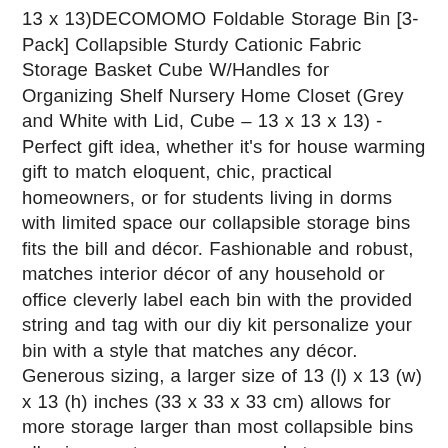13 x 13)DECOMOMO Foldable Storage Bin [3-Pack] Collapsible Sturdy Cationic Fabric Storage Basket Cube W/Handles for Organizing Shelf Nursery Home Closet (Grey and White with Lid, Cube – 13 x 13 x 13) - Perfect gift idea, whether it's for house warming gift to match eloquent, chic, practical homeowners, or for students living in dorms with limited space our collapsible storage bins fits the bill and décor. Fashionable and robust, matches interior décor of any household or office cleverly label each bin with the provided string and tag with our diy kit personalize your bin with a style that matches any décor. Generous sizing, a larger size of 13 (l) x 13 (w) x 13 (h) inches (33 x 33 x 33 cm) allows for more storage larger than most collapsible bins allowing you to move more and store more. Rugged and durable, storage bin made of attractive canvas with interior lining our bins are made of cationic fabric, which is sturdier than